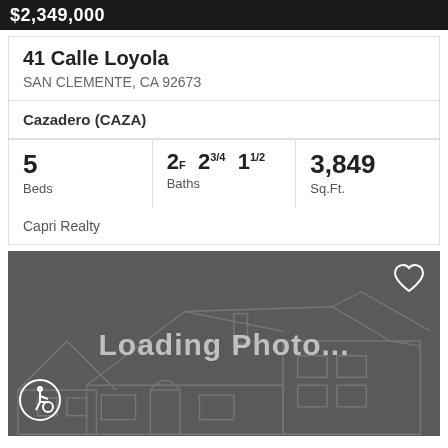$2,349,000
41 Calle Loyola
SAN CLEMENTE, CA 92673
Cazadero (CAZA)
| Beds | Baths | Sq.Ft. |
| --- | --- | --- |
| 5 | 2F 23/4 11/2 | 3,849 |
Capri Realty
[Figure (photo): Loading photo placeholder with house outline silhouette on dark gray background, heart icon in top right, accessibility icon in bottom left, text 'Loading Photo...']